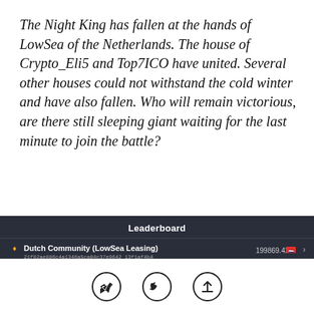The Night King has fallen at the hands of LowSea of the Netherlands. The house of Crypto_Eli5 and Top7ICO have united. Several other houses could not withstand the cold winter and have also fallen. Who will remain victorious, are there still sleeping giant waiting for the last minute to join the battle?
[Figure (screenshot): Leaderboard screenshot showing dark background with title 'Leaderboard' and three rows: 1st Dutch Community (LowSea Leasing) with score 199869.42, 2nd rahid83ar with score 126594.12, 3rd entry partially visible]
[Figure (infographic): Footer bar with three circular icon buttons: Telegram, Twitter, and Share/Upload icons]